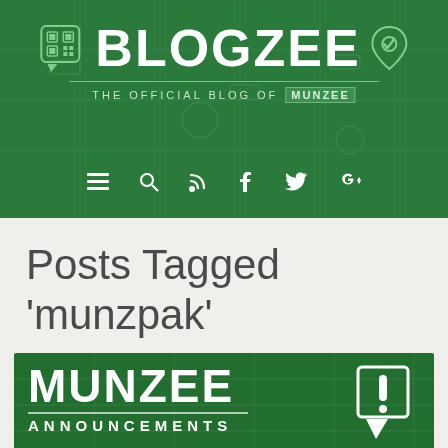BLOGZEE — THE OFFICIAL BLOG OF MUNZEE
Posts Tagged 'munzpak'
[Figure (logo): Munzee Announcements banner with large white MUNZEE text and ANNOUNCEMENTS subtitle on dark green background, with an exclamation mark icon]